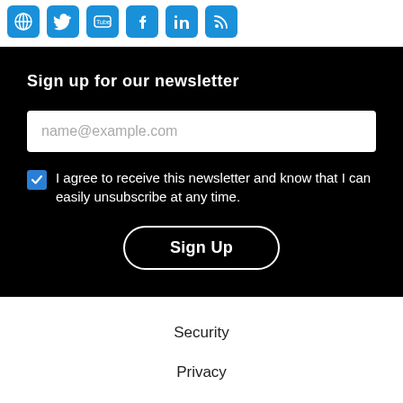[Figure (illustration): Row of social media icons (globe/website, Twitter, YouTube, Facebook, LinkedIn, RSS) in blue rounded square style]
Sign up for our newsletter
name@example.com (email input placeholder)
I agree to receive this newsletter and know that I can easily unsubscribe at any time.
Sign Up
Security
Privacy
Contact